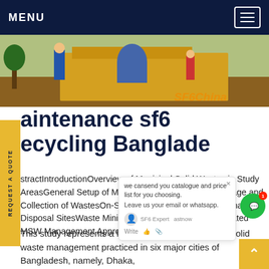MENU
[Figure (photo): Hero image showing workers at an industrial site with yellow machinery; SF6China watermark in orange text bottom right]
maintenance sf6 recycling Bangladesh
AbstractIntroductionOverview of Municipal Solid Wastes in Study AreasGeneral Setup of MSW ManagementSource Storage and Collection of WastesOn-Site StorageTransportationUltimate Disposal SitesWaste Minimization and TreatmentIntegrated MSW Management ApproachThis study represents a few basic steps of municipal solid waste management practiced in six major cities of Bangladesh, namely, Dhaka,